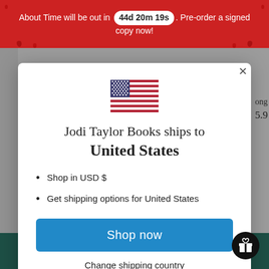About Time will be out in 44d 20m 19s. Pre-order a signed copy now!
[Figure (illustration): US flag SVG icon centered in modal]
Jodi Taylor Books ships to United States
Shop in USD $
Get shipping options for United States
Shop now
Change shipping country